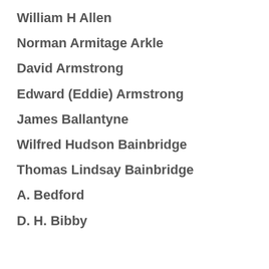William H Allen
Norman Armitage Arkle
David Armstrong
Edward (Eddie) Armstrong
James Ballantyne
Wilfred Hudson Bainbridge
Thomas Lindsay Bainbridge
A. Bedford
D. H. Bibby